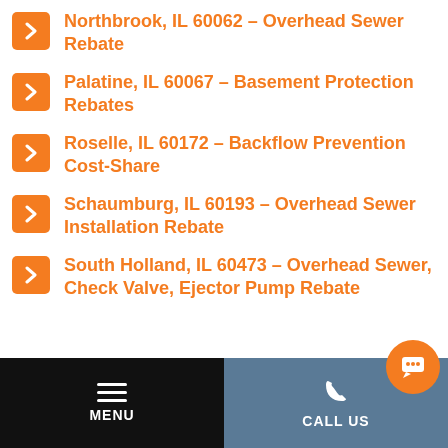Northbrook, IL 60062 – Overhead Sewer Rebate
Palatine, IL 60067 – Basement Protection Rebates
Roselle, IL 60172 – Backflow Prevention Cost-Share
Schaumburg, IL 60193 – Overhead Sewer Installation Rebate
South Holland, IL 60473 – Overhead Sewer, Check Valve, Ejector Pump Rebate
MENU | CALL US